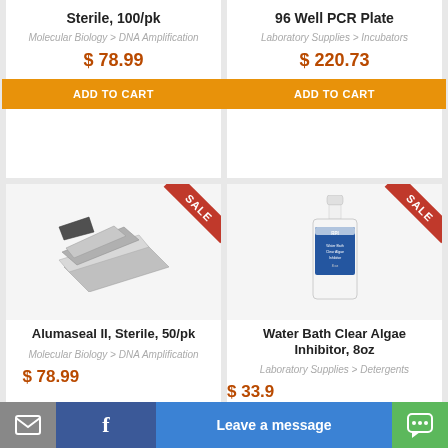Sterile, 100/pk
Molecular Biology > DNA Amplification
$ 78.99
ADD TO CART
96 Well PCR Plate
Laboratory Supplies > Incubators
$ 220.73
ADD TO CART
[Figure (photo): Alumaseal II foil sealing sheets, metallic/silver colored]
SALE
Alumaseal II, Sterile, 50/pk
Molecular Biology > DNA Amplification
$ 78.99
[Figure (photo): White plastic bottle with blue label - Water Bath Clear Algae Inhibitor]
SALE
Water Bath Clear Algae Inhibitor, 8oz
Laboratory Supplies > Detergents
$ 33.99
Leave a message